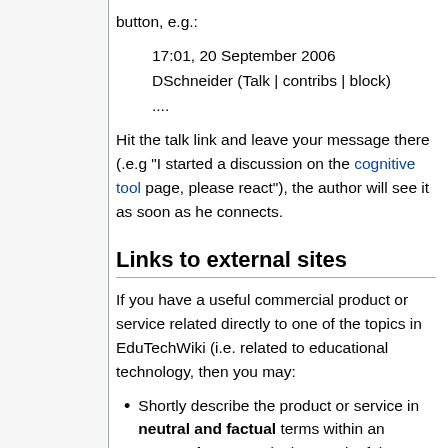button, e.g.:
17:01, 20 September 2006
DSchneider (Talk | contribs | block)
....
Hit the talk link and leave your message there (.e.g "I started a discussion on the cognitive tool page, please react"), the author will see it as soon as he connects.
Links to external sites
If you have a useful commercial product or service related directly to one of the topics in EduTechWiki (i.e. related to educational technology, then you may:
Shortly describe the product or service in neutral and factual terms within an appropriate page (only meaningful pictures like screenshots